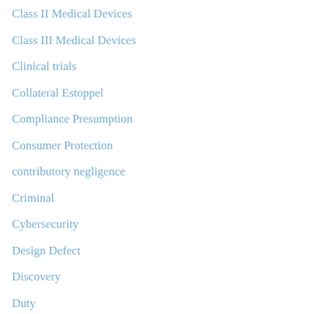Class II Medical Devices
Class III Medical Devices
Clinical trials
Collateral Estoppel
Compliance Presumption
Consumer Protection
contributory negligence
Criminal
Cybersecurity
Design Defect
Discovery
Duty